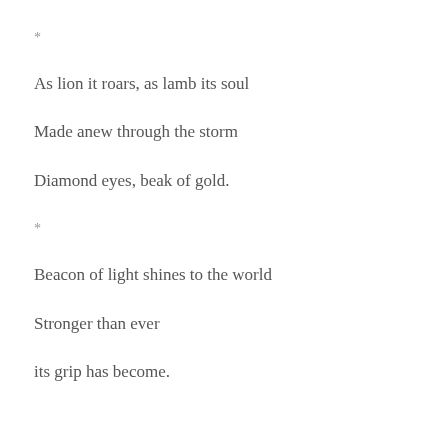*
As lion it roars, as lamb its soul
Made anew through the storm
Diamond eyes, beak of gold.
*
Beacon of light shines to the world
Stronger than ever
its grip has become.